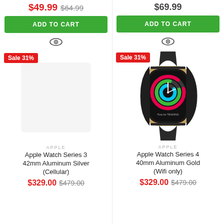$49.99 $64.99
ADD TO CART
$69.99
ADD TO CART
Sale 31%
Sale 31%
[Figure (photo): Apple Watch Series 4 40mm Aluminum Gold with black sport band, showing colorful activity rings on screen]
APPLE
Apple Watch Series 3 42mm Aluminum Silver (Cellular)
$329.00 $479.00
APPLE
Apple Watch Series 4 40mm Aluminum Gold (Wifi only)
$329.00 $479.00